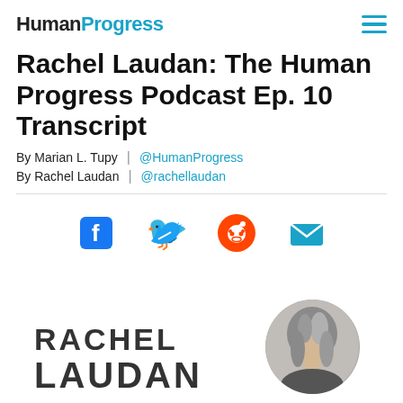HumanProgress
Rachel Laudan: The Human Progress Podcast Ep. 10 Transcript
By Marian L. Tupy | @HumanProgress
By Rachel Laudan | @rachellaudan
[Figure (infographic): Social share icons: Facebook, Twitter, Reddit, Email]
[Figure (photo): Circular portrait photo of Rachel Laudan with text RACHEL LAUDAN beside it]